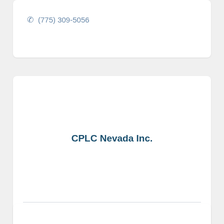(775) 309-5056
CPLC Nevada Inc.
246 Dayton Valley Rd., Suite 103, Carson City, NV 89403
(702) 207-1614